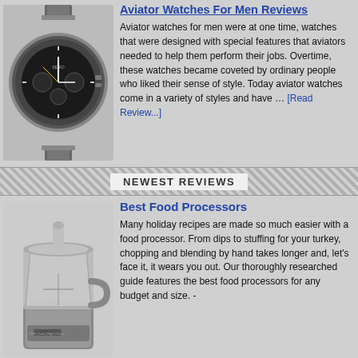Aviator Watches For Men Reviews
[Figure (photo): Photo of a silver aviator/pilot chronograph watch with black dial and yellow accents on a metal bracelet]
Aviator watches for men were at one time, watches that were designed with special features that aviators needed to help them perform their jobs. Overtime, these watches became coveted by ordinary people who liked their sense of style. Today aviator watches come in a variety of styles and have … [Read Review...]
NEWEST REVIEWS
Best Food Processors
[Figure (photo): Photo of a silver/grey food processor with clear bowl and lid]
Many holiday recipes are made so much easier with a food processor. From dips to stuffing for your turkey, chopping and blending by hand takes longer and, let's face it, it wears you out. Our thoroughly researched guide features the best food processors for any budget and size. -
Content: … [Read Review...]